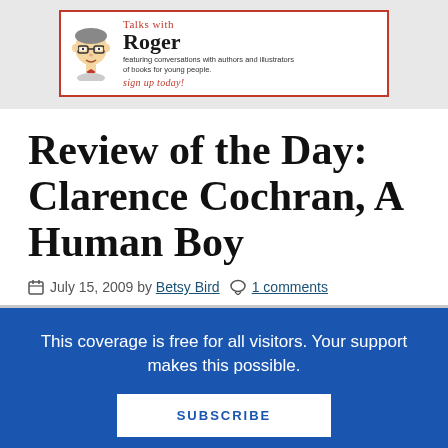[Figure (logo): Talks with Roger banner — illustration of a bespectacled man with bow tie, text reading 'Talks with Roger' with tagline 'featuring conversations with authors and illustrators of books for young people. sign up today!']
Review of the Day: Clarence Cochran, A Human Boy
July 15, 2009 by Betsy Bird  1 comments
This coverage is free for all visitors. Your support makes this possible.
SUBSCRIBE